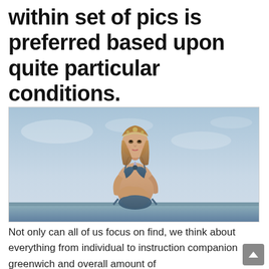within set of pics is preferred based upon quite particular conditions.
[Figure (illustration): An illustrated/rendered female character in a blue bikini, standing in front of a sky background with a horizon/water line at the bottom. She has long brown hair with accessories and a necklace.]
Not only can all of us focus on find, we think about everything from individual to instruction companion greenwich and overall amount of